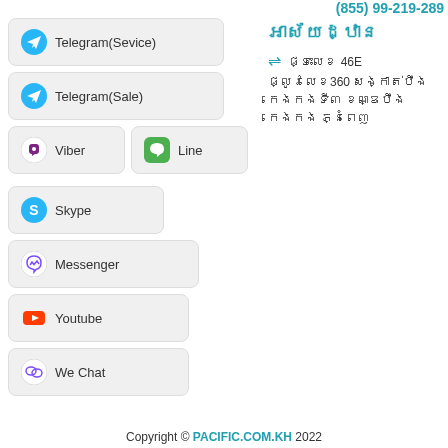(855) 99-219-289
អាស័យដ្ឋាន
ផ្ទះលេខ 46E ផ្លូវលេខ360 សង្កាត់បឹងកេងកងទី៣ ខណ្ឌបឹងកេងកង ភ្នំពេញ
Telegram(Sevice)
Telegram(Sale)
Viber
Line
Skype
Messenger
Youtube
We Chat
Copyright © PACIFIC.COM.KH 2022